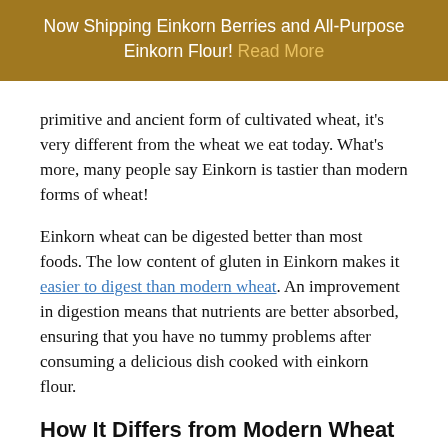Now Shipping Einkorn Berries and All-Purpose Einkorn Flour! Read More
primitive and ancient form of cultivated wheat, it's very different from the wheat we eat today. What's more, many people say Einkorn is tastier than modern forms of wheat!
Einkorn wheat can be digested better than most foods. The low content of gluten in Einkorn makes it easier to digest than modern wheat. An improvement in digestion means that nutrients are better absorbed, ensuring that you have no tummy problems after consuming a delicious dish cooked with einkorn flour.
How It Differs from Modern Wheat
As mentioned, einkorn is not the same as modern forms of wheat. When einkorn is milled into flour, you will notice that the grains are much smaller than grains of modern forms of wheat. In fact, notices from early data show they are...